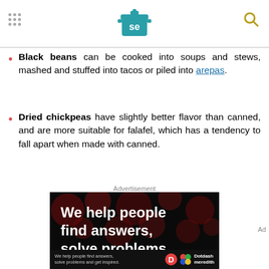Serious Eats header with logo and navigation
Black beans can be cooked into soups and stews, mashed and stuffed into tacos or piled into arepas.
Dried chickpeas have slightly better flavor than canned, and are more suitable for falafel, which has a tendency to fall apart when made with canned.
Advertisement
[Figure (other): Advertisement banner: 'We help people find answers, solve problems' with Dotdash Meredith branding on dark background with bokeh dots]